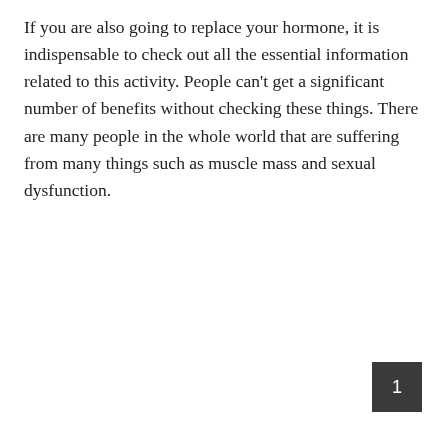If you are also going to replace your hormone, it is indispensable to check out all the essential information related to this activity. People can't get a significant number of benefits without checking these things. There are many people in the whole world that are suffering from many things such as muscle mass and sexual dysfunction.
1